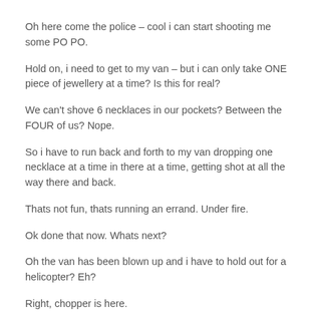Oh here come the police – cool i can start shooting me some PO PO.
Hold on, i need to get to my van – but i can only take ONE piece of jewellery at a time? Is this for real?
We can't shove 6 necklaces in our pockets? Between the FOUR of us? Nope.
So i have to run back and forth to my van dropping one necklace at a time in there at a time, getting shot at all the way there and back.
Thats not fun, thats running an errand. Under fire.
Ok done that now. Whats next?
Oh the van has been blown up and i have to hold out for a helicopter? Eh?
Right, chopper is here.
Oh you are kidding me, i now have to take each bag from the wrecked van ONE AT A TIME up to the helicopter now?
Just one bag to go, oh nuts ive been hit.